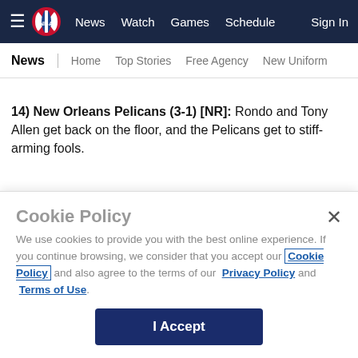NBA — News | Watch | Games | Schedule | Sign In
News | Home | Top Stories | Free Agency | New Uniform
14) New Orleans Pelicans (3-1) [NR]: Rondo and Tony Allen get back on the floor, and the Pelicans get to stiff-arming fools.
15) New York Knicks (2-2) [14]: Not often a team drops 28 straight on someone at this level.
Dropped out: Memphis [15]
Cookie Policy
We use cookies to provide you with the best online experience. If you continue browsing, we consider that you accept our Cookie Policy and also agree to the terms of our Privacy Policy and Terms of Use.
I Accept